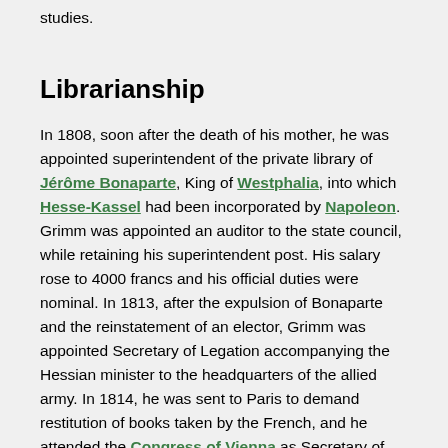studies.
Librarianship
In 1808, soon after the death of his mother, he was appointed superintendent of the private library of Jérôme Bonaparte, King of Westphalia, into which Hesse-Kassel had been incorporated by Napoleon. Grimm was appointed an auditor to the state council, while retaining his superintendent post. His salary rose to 4000 francs and his official duties were nominal. In 1813, after the expulsion of Bonaparte and the reinstatement of an elector, Grimm was appointed Secretary of Legation accompanying the Hessian minister to the headquarters of the allied army. In 1814, he was sent to Paris to demand restitution of books taken by the French, and he attended the Congress of Vienna as Secretary of Legation in 1814–1815. Upon his return from Vienna, he was sent to Paris again to secure book restitutions. Meanwhile, Wilhelm had obtained a job at the Kassel library, and Jacob was made second librarian under Volkel in 1816. Upon the